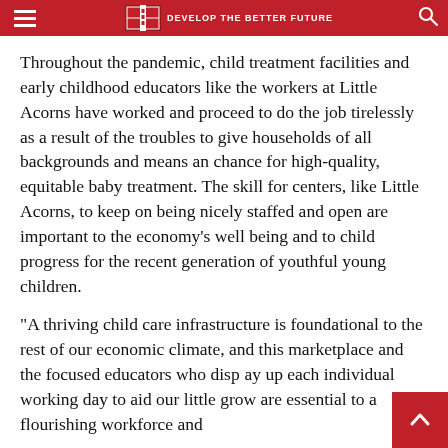DEVELOP THE BETTER FUTURE
Throughout the pandemic, child treatment facilities and early childhood educators like the workers at Little Acorns have worked and proceed to do the job tirelessly as a result of the troubles to give households of all backgrounds and means an chance for high-quality, equitable baby treatment. The skill for centers, like Little Acorns, to keep on being nicely staffed and open are important to the economy’s well being and to child progress for the recent generation of youthful young children.
“A thriving child care infrastructure is foundational to the rest of our economic climate, and this marketplace and the focused educators who display up each individual working day to aid our little ones grow are essential to a flourishing workforce and